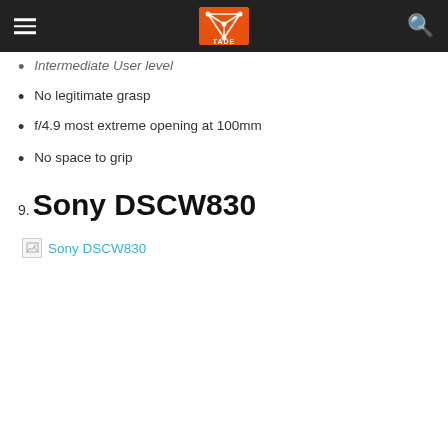TADE Reviews
Intermediate User level
No legitimate grasp
f/4.9 most extreme opening at 100mm
No space to grip
9. Sony DSCW830
[Figure (other): Broken image placeholder with link text 'Sony DSCW830']